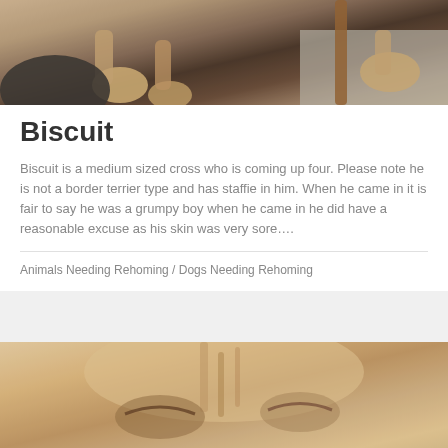[Figure (photo): Close-up photo of a dog's paws and legs on a carpet, warm brown fur visible]
Biscuit
Biscuit is a medium sized cross who is coming up four. Please note he is not a border terrier type and has staffie in him. When he came in it is fair to say he was a grumpy boy when he came in he did have a reasonable excuse as his skin was very sore….
Animals Needing Rehoming / Dogs Needing Rehoming
[Figure (photo): Close-up photo of a cat's face, showing forehead and eyes area, tawny/beige fur]